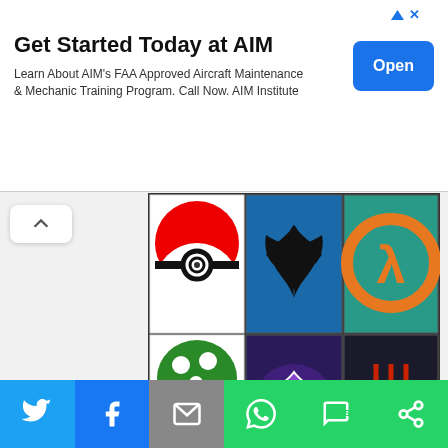[Figure (infographic): Advertisement banner: 'Get Started Today at AIM' with subtitle 'Learn About AIM's FAA Approved Aircraft Maintenance & Mechanic Training Program. Call Now. AIM Institute' and a blue Open button. Ad icons top right.]
[Figure (photo): Crocheted blanket with video game logos: Pokeball (top left), Skyrim dragon (top center), Half-Life lambda (top right), 1-Up mushroom (middle left, Mario), Mortal Kombat dragon (middle center), red runic symbol (middle right), star/snowflake (bottom left), Assassin's Creed logo (bottom center, yellow), skull and crossbones (bottom right). Arranged in a 3x3 grid of colorful crocheted squares on a wooden surface.]
We use cookies to optimize our website and our service.
Accept
[Figure (infographic): Social sharing bar at bottom with Twitter (blue), Facebook (dark blue), Email (gray), WhatsApp (green), SMS (green), More/share (green) buttons with white icons.]